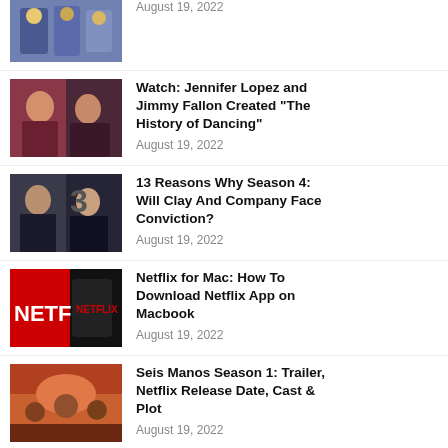[Figure (photo): Anime-style characters in blue/purple uniforms]
August 19, 2022
[Figure (photo): Jennifer Lopez and another woman at an event]
Watch: Jennifer Lopez and Jimmy Fallon Created “The History of Dancing”
August 19, 2022
[Figure (photo): Two actors from 13 Reasons Why]
13 Reasons Why Season 4: Will Clay And Company Face Conviction?
August 19, 2022
[Figure (photo): Netflix logo on phone and background]
Netflix for Mac: How To Download Netflix App on Macbook
August 19, 2022
[Figure (photo): Animated illustration for Seis Manos]
Seis Manos Season 1: Trailer, Netflix Release Date, Cast & Plot
August 19, 2022